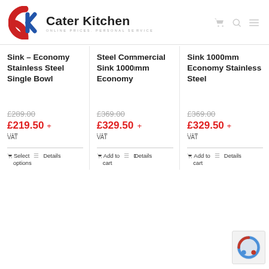[Figure (logo): Cater Kitchen logo with red and blue CK icon and tagline 'ONLINE PRICES. PERSONAL SERVICE']
Sink – Economy Stainless Steel Single Bowl
£289.00
£219.50 + VAT
Select options  Details
Steel Commercial Sink 1000mm Economy
£369.00
£329.50 + VAT
Add to cart  Details
Sink 1000mm Economy Stainless Steel
£369.00
£329.50 + VAT
Add to cart  Details